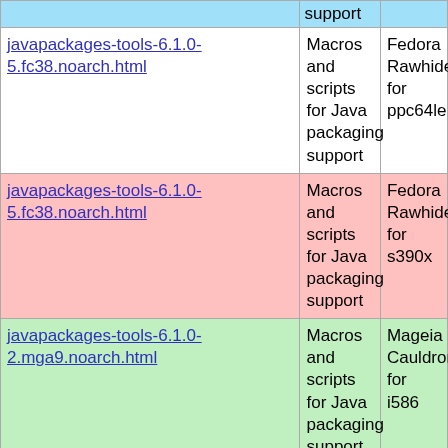| Package | Description | Distribution |
| --- | --- | --- |
| javapackages-tools-6.1.0-5.fc38.noarch.html | Macros and scripts for Java packaging support | Fedora Rawhide for ppc64le |
| javapackages-tools-6.1.0-5.fc38.noarch.html | Macros and scripts for Java packaging support | Fedora Rawhide for s390x |
| javapackages-tools-6.1.0-2.mga9.noarch.html | Macros and scripts for Java packaging support | Mageia Cauldron for i586 |
| javapackages-tools-6.1.0-2.mga9.noarch.html | Macros and scripts for Java packaging support | Mageia Cauldron for armv7hl |